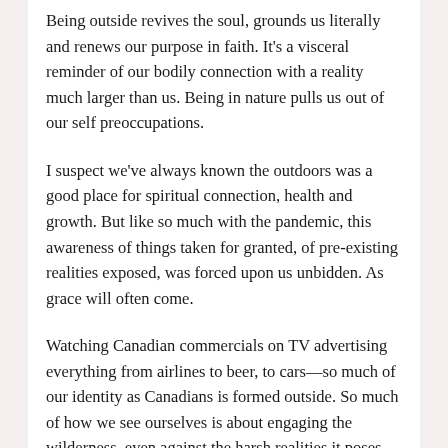Being outside revives the soul, grounds us literally and renews our purpose in faith. It's a visceral reminder of our bodily connection with a reality much larger than us. Being in nature pulls us out of our self preoccupations.
I suspect we've always known the outdoors was a good place for spiritual connection, health and growth. But like so much with the pandemic, this awareness of things taken for granted, of pre-existing realities exposed, was forced upon us unbidden. As grace will often come.
Watching Canadian commercials on TV advertising everything from airlines to beer, to cars—so much of our identity as Canadians is formed outside. So much of how we see ourselves is about engaging the wilderness, even against the harsh realities it poses for us. It's part of our DNA to go there anyway, despite the wind, the rain and the snow.
We cannot deny our deep connection with the outdoors. At some level we are drawn, if we are able, to go outside — to garden, to ski, to play, to swim, to paddle, to hike, to